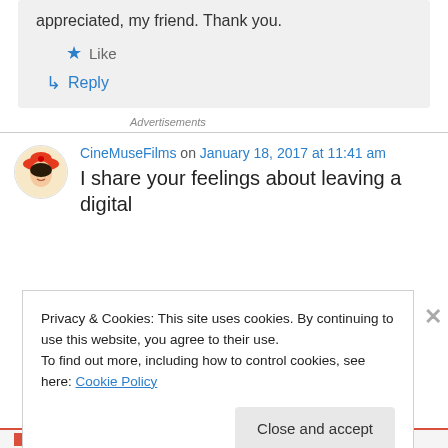appreciated, my friend. Thank you.
★ Like
↳ Reply
Advertisements
CineMuseFilms on January 18, 2017 at 11:41 am
I share your feelings about leaving a digital
Privacy & Cookies: This site uses cookies. By continuing to use this website, you agree to their use.
To find out more, including how to control cookies, see here: Cookie Policy
Close and accept